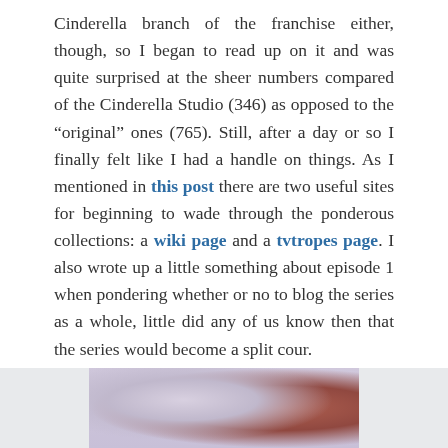Cinderella branch of the franchise either, though, so I began to read up on it and was quite surprised at the sheer numbers compared of the Cinderella Studio (346) as opposed to the “original” ones (765). Still, after a day or so I finally felt like I had a handle on things. As I mentioned in this post there are two useful sites for beginning to wade through the ponderous collections: a wiki page and a tvtropes page. I also wrote up a little something about episode 1 when pondering whether or no to blog the series as a whole, little did any of us know then that the series would become a split cour.
[Figure (photo): Partial view of an image at the bottom of the page, appearing to show a character or figure with purple/lavender tones on the left and reddish/brown tones on the right.]